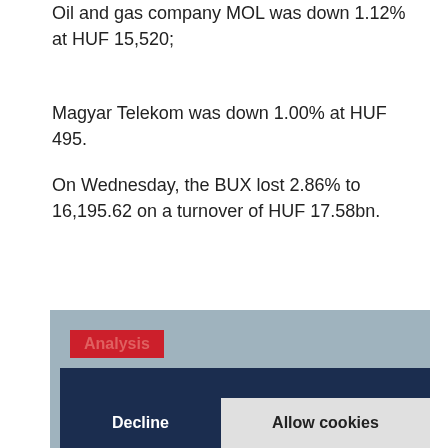Oil and gas company MOL was down 1.12% at HUF 15,520;
Magyar Telekom was down 1.00% at HUF 495.
On Wednesday, the BUX lost 2.86% to 16,195.62 on a turnover of HUF 17.58bn.
[Figure (screenshot): Screenshot of a news/analysis website with a red 'Analysis' label and a cookie consent banner overlay showing 'This website uses cookies to ensure you get the best experience on our website.' with 'Learn more' link and 'Decline' / 'Allow cookies' buttons.]